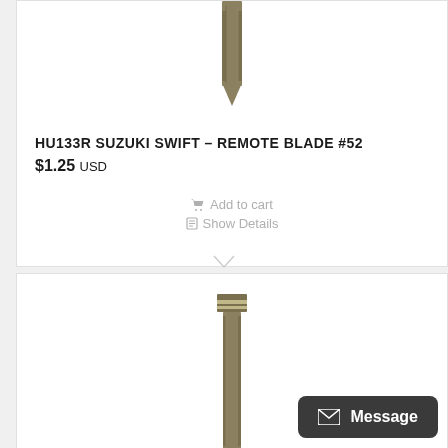[Figure (photo): Top portion of a Suzuki Swift HU133R remote blade key, showing the pointed tip end of a metallic gold-bronze colored key blade against white background]
HU133R SUZUKI SWIFT – REMOTE BLADE #52
$1.25 USD
Add to cart
Show Details
[Figure (photo): Bottom portion of a Suzuki Swift remote blade key, showing the head/base end of a metallic gold-bronze colored key blade with ridges at the top]
Message